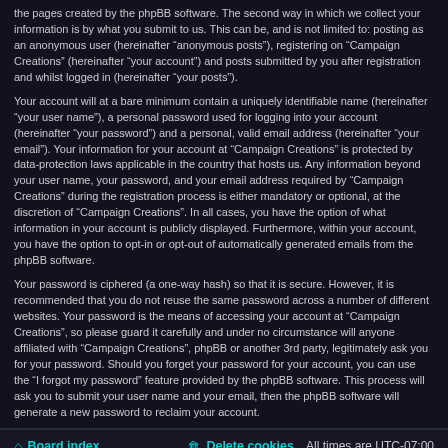the pages created by the phpBB software. The second way in which we collect your information is by what you submit to us. This can be, and is not limited to: posting as an anonymous user (hereinafter “anonymous posts”), registering on “Campaign Creations” (hereinafter “your account”) and posts submitted by you after registration and whilst logged in (hereinafter “your posts”).
Your account will at a bare minimum contain a uniquely identifiable name (hereinafter “your user name”), a personal password used for logging into your account (hereinafter “your password”) and a personal, valid email address (hereinafter “your email”). Your information for your account at “Campaign Creations” is protected by data-protection laws applicable in the country that hosts us. Any information beyond your user name, your password, and your email address required by “Campaign Creations” during the registration process is either mandatory or optional, at the discretion of “Campaign Creations”. In all cases, you have the option of what information in your account is publicly displayed. Furthermore, within your account, you have the option to opt-in or opt-out of automatically generated emails from the phpBB software.
Your password is ciphered (a one-way hash) so that it is secure. However, it is recommended that you do not reuse the same password across a number of different websites. Your password is the means of accessing your account at “Campaign Creations”, so please guard it carefully and under no circumstance will anyone affiliated with “Campaign Creations”, phpBB or another 3rd party, legitimately ask you for your password. Should you forget your password for your account, you can use the “I forgot my password” feature provided by the phpBB software. This process will ask you to submit your user name and your email, then the phpBB software will generate a new password to reclaim your account.
Board index | Delete cookies | All times are UTC-07:00
Powered by phpBB® Forum Software © phpBB Limited | Privacy | Terms